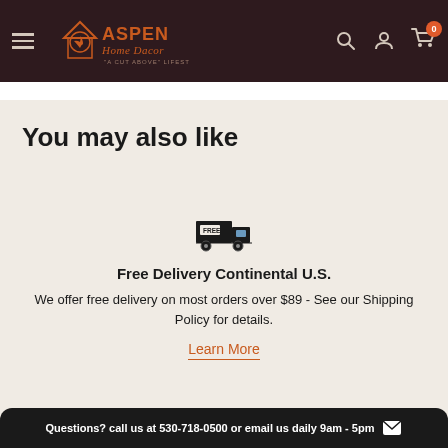Aspen Home Decor - A Cut Above Lifestyle
You may also like
[Figure (illustration): Free delivery truck icon with FREE label on truck body]
Free Delivery Continental U.S.
We offer free delivery on most orders over $89 - See our Shipping Policy for details.
Learn More
Questions? call us at 530-718-0500 or email us daily 9am - 5pm